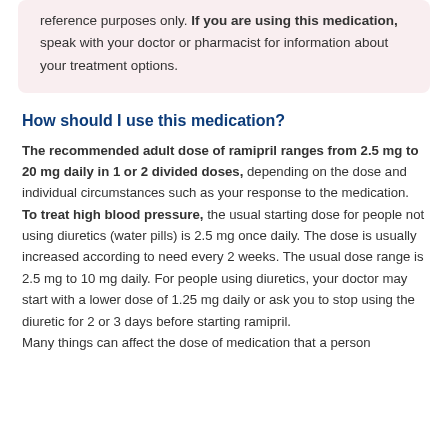reference purposes only. If you are using this medication, speak with your doctor or pharmacist for information about your treatment options.
How should I use this medication?
The recommended adult dose of ramipril ranges from 2.5 mg to 20 mg daily in 1 or 2 divided doses, depending on the dose and individual circumstances such as your response to the medication.
To treat high blood pressure, the usual starting dose for people not using diuretics (water pills) is 2.5 mg once daily. The dose is usually increased according to need every 2 weeks. The usual dose range is 2.5 mg to 10 mg daily. For people using diuretics, your doctor may start with a lower dose of 1.25 mg daily or ask you to stop using the diuretic for 2 or 3 days before starting ramipril.
Many things can affect the dose of medication that a person